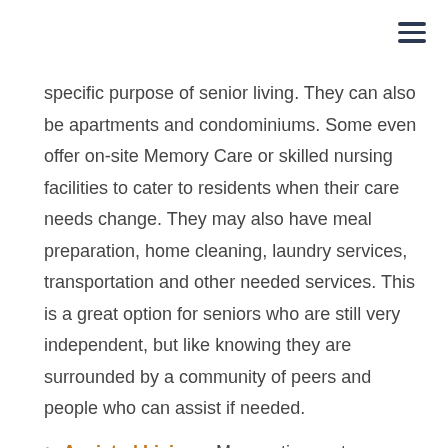specific purpose of senior living. They can also be apartments and condominiums. Some even offer on-site Memory Care or skilled nursing facilities to cater to residents when their care needs change. They may also have meal preparation, home cleaning, laundry services, transportation and other needed services. This is a great option for seniors who are still very independent, but like knowing they are surrounded by a community of peers and people who can assist if needed.
Assisted Living – Many retirement communities